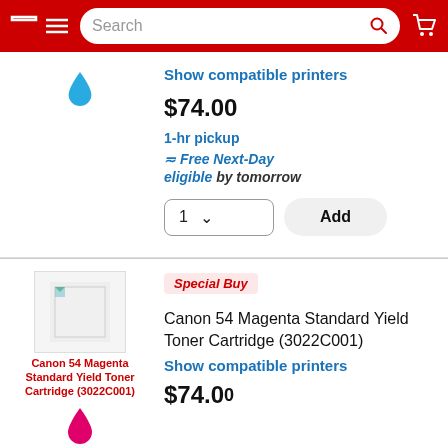Search
Show compatible printers
$74.00
1-hr pickup
≂ Free Next-Day eligible by tomorrow
1  ∨  Add
[Figure (illustration): Special Buy badge]
[Figure (photo): Canon 54 Magenta Standard Yield Toner Cartridge (3022C001) product image thumbnail]
Canon 54 Magenta Standard Yield Toner Cartridge (3022C001)
Show compatible printers
$74.00